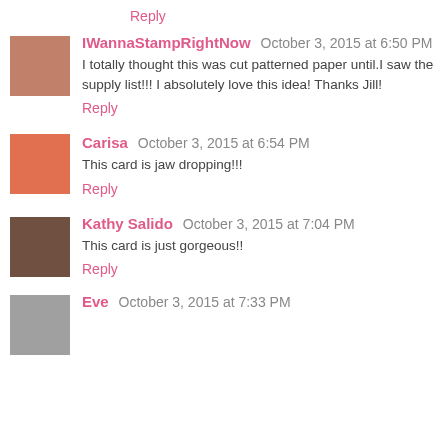Reply
IWannaStampRightNow  October 3, 2015 at 6:50 PM
I totally thought this was cut patterned paper until.I saw the supply list!!! I absolutely love this idea! Thanks Jill!
Reply
Carisa  October 3, 2015 at 6:54 PM
This card is jaw dropping!!!
Reply
Kathy Salido  October 3, 2015 at 7:04 PM
This card is just gorgeous!!
Reply
Eve  October 3, 2015 at 7:33 PM